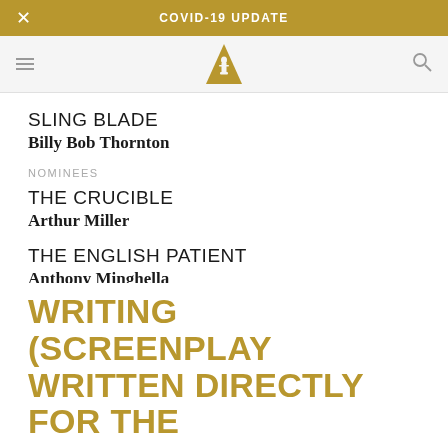COVID-19 UPDATE
[Figure (logo): Academy Awards logo — gold triangle with Oscar statuette silhouette]
SLING BLADE
Billy Bob Thornton
NOMINEES
THE CRUCIBLE
Arthur Miller
THE ENGLISH PATIENT
Anthony Minghella
HAMLET
Kenneth Branagh
TRAINSPOTTING
John Hodge
WRITING (SCREENPLAY WRITTEN DIRECTLY FOR THE